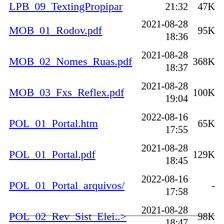LPB_09_TextingPropipar (partial, top cut off) 21:32 47K
MOB_01_Rodov.pdf 2021-08-28 18:36 95K
MOB_02_Nomes_Ruas.pdf 2021-08-28 18:37 368K
MOB_03_Fxs_Reflex.pdf 2021-08-28 19:04 100K
POL_01_Portal.htm 2022-08-16 17:55 65K
POL_01_Portal.pdf 2021-08-28 18:45 129K
POL_01_Portal_arquivos/ 2022-08-16 17:58 -
POL_02_Rev_Sist_Elei..> 2021-08-28 18:47 98K
POL_03_Corp.pdf 2021-08-28 18:48 103K
POL_04_DebateCandida..> 2021-08-28 18:50 152K
POL_05_UrnaEletronTr..> 2022-02-07 20:05 119K